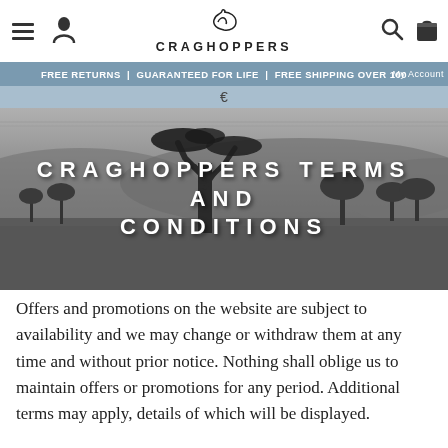FREE RETURNS | GUARANTEED FOR LIFE | FREE SHIPPING OVER 100 €  My Account
[Figure (screenshot): Craghoppers website header with hamburger menu, user icon, Craghoppers logo with spiral motif, search icon, and bag icon]
[Figure (photo): Black and white landscape photo of African savanna with a lone acacia tree in the foreground, rolling hills and sparse trees in the background, overlaid with large white uppercase text reading CRAGHOPPERS TERMS AND CONDITIONS]
CRAGHOPPERS TERMS AND CONDITIONS
Offers and promotions on the website are subject to availability and we may change or withdraw them at any time and without prior notice. Nothing shall oblige us to maintain offers or promotions for any period. Additional terms may apply, details of which will be displayed.